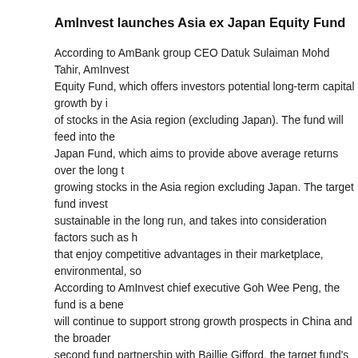AmInvest launches Asia ex Japan Equity Fund
According to AmBank group CEO Datuk Sulaiman Mohd Tahir, AmInvest Equity Fund, which offers investors potential long-term capital growth by investing in stocks in the Asia region (excluding Japan). The fund will feed into the Japan Fund, which aims to provide above average returns over the long term by growing stocks in the Asia region excluding Japan. The target fund invests in sustainable in the long run, and takes into consideration factors such as businesses that enjoy competitive advantages in their marketplace, environmental, so... According to AmInvest chief executive Goh Wee Peng, the fund is a benefit that will continue to support strong growth prospects in China and the broader second fund partnership with Baillie Gifford, the target fund's investment target fund for the Sustainable Series – Positive Change Fund. Baillie Gifford's experience managing Asian region equities. Since its inception in February, the fund has returned 36.2% and beaten its benchmark by 23.4%. There should be fund, as there are more than 3 billion consumers across Asia with a notable the rising Asian middle class. Pre-pandemic data from International Monetary capital spending power of Chinese consumers will nearly double in US dollars from 2019 to 2024. Digital penetration and technological change continues term growth opportunities in Asia. Rapid development of technology is creating market behaviours, with digitalisation driving changes in economic and policy consumer habits and behaviours. The target fund actively seeks companies underappreciated growth and those constantly reinvesting for the long-term.